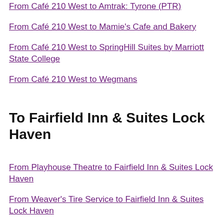From Café 210 West to Amtrak: Tyrone (PTR)
From Café 210 West to Mamie's Cafe and Bakery
From Café 210 West to SpringHill Suites by Marriott State College
From Café 210 West to Wegmans
To Fairfield Inn & Suites Lock Haven
From Playhouse Theatre to Fairfield Inn & Suites Lock Haven
From Weaver's Tire Service to Fairfield Inn & Suites Lock Haven
From Williard Building to Fairfield Inn & Suites Lock